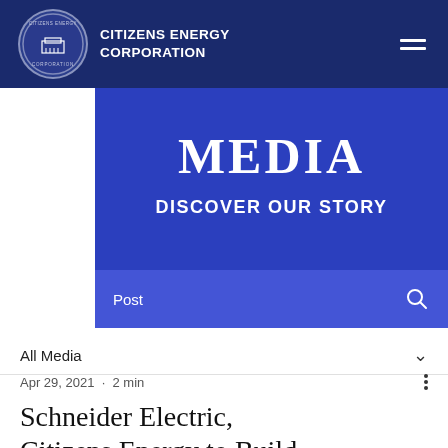[Figure (logo): Citizens Energy Corporation circular logo with building icon]
CITIZENS ENERGY CORPORATION
MEDIA
DISCOVER OUR STORY
Post
All Media
Apr 29, 2021 · 2 min
Schneider Electric, Citizens Energy to Build Microgrid for Communities